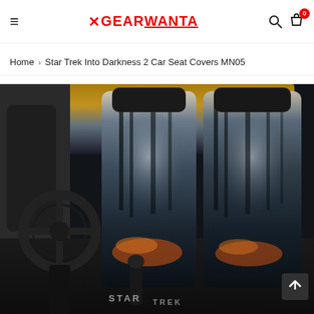≡ ✕GEAR WANTA 🔍 🛍 0
Home › Star Trek Into Darkness 2 Car Seat Covers MN05
[Figure (photo): Car interior showing two front seat covers printed with Star Trek Into Darkness 2 movie artwork — dark apocalyptic city scene with smoke and fire. Steering wheel and gear shift visible in foreground.]